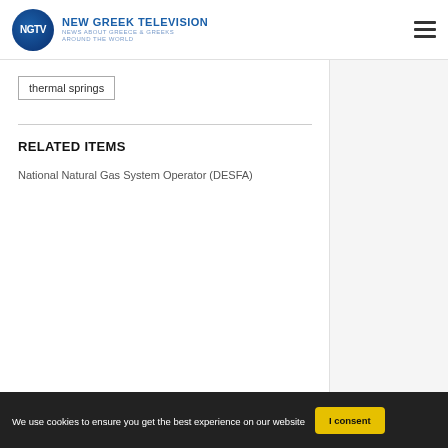NEW GREEK TELEVISION — NEWS ABOUT GREECE & GREEKS AROUND THE WORLD
thermal springs
RELATED ITEMS
[Figure (photo): DESFA company sign showing the ΔΕΣΦΑ logo with Greek text: Διαχειριστής Εθνικού Συστήματος Φυσικού Αερίου]
National Natural Gas System Operator (DESFA)
We use cookies to ensure you get the best experience on our website